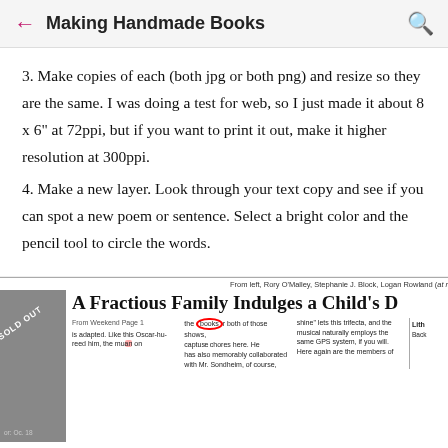Making Handmade Books
3. Make copies of each (both jpg or both png) and resize so they are the same. I was doing a test for web, so I just made it about 8 x 6" at 72ppi, but if you want to print it out, make it higher resolution at 300ppi.
4. Make a new layer. Look through your text copy and see if you can spot a new poem or sentence. Select a bright color and the pencil tool to circle the words.
[Figure (screenshot): Newspaper clipping showing 'A Fractious Family Indulges a Child's D...' headline with a red circle around the word 'books', a 'SOLD OUT' watermark on the left image, and caption 'From left, Rory O'Malley, Stephanie J. Block, Logan Rowland (at rear), David Rasche, Hannah Nordbe...']